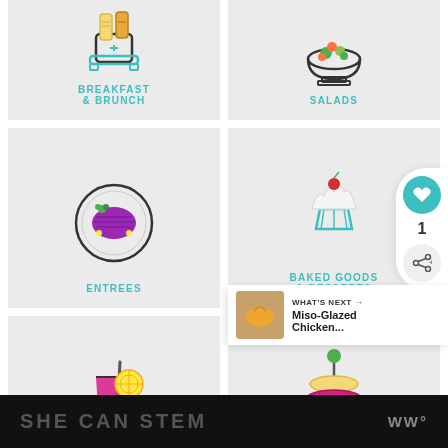[Figure (illustration): Grid of food category icons: Breakfast & Brunch (toaster with toast), Salads (bowl with vegetables), Entrees (plate with food), Baked Goods & Desserts (cupcake), Beverages & Cocktails (drink with straw and lemon), Appetizers & Snacks (stacked appetizers on skewer)]
SHE CAN STEM   WW°